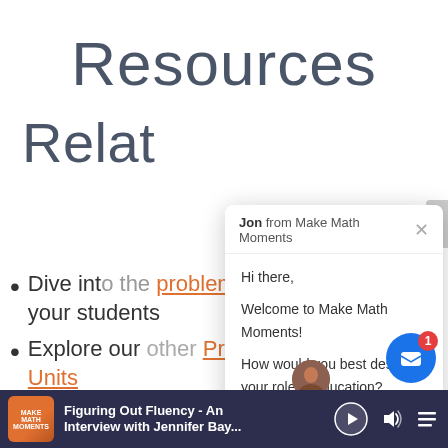Resources
Relat
Dive into the problem based unit with your students
Explore our other Problem Based Math Units
Learn how to consistently Make
[Figure (screenshot): Chat popup from 'Jon from Make Math Moments' with messages: 'Hi there,' 'Welcome to Make Math Moments!' 'How would you best describe your role in education?' and a reply input field]
[Figure (screenshot): Podcast player bar at bottom: 'Figuring Out Fluency - An Interview with Jennifer Bay...' with play, volume, and playlist controls]
[Figure (screenshot): Blue chat notification bubble with red badge showing '1']